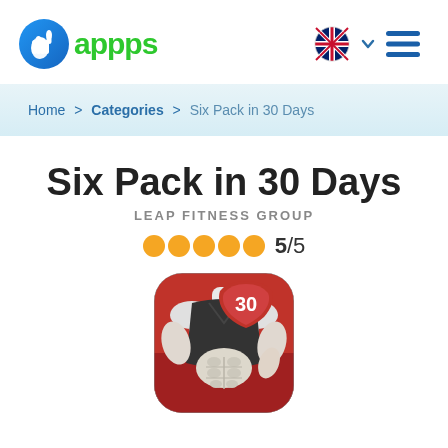appps
Home > Categories > Six Pack in 30 Days
Six Pack in 30 Days
LEAP FITNESS GROUP
5/5
[Figure (photo): App icon for Six Pack in 30 Days — a muscular torso illustration on a red background with a shield showing the number 30]